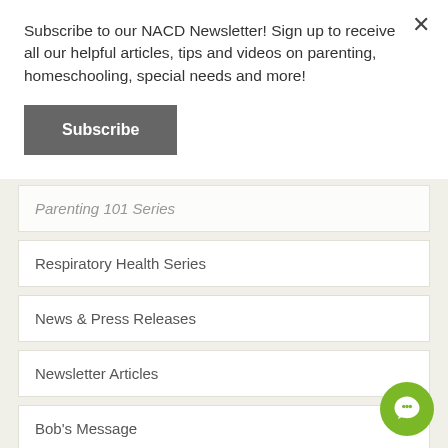Subscribe to our NACD Newsletter! Sign up to receive all our helpful articles, tips and videos on parenting, homeschooling, special needs and more!
Subscribe
Parenting 101 Series
Respiratory Health Series
News & Press Releases
Newsletter Articles
Bob's Message
Research
Science Corner